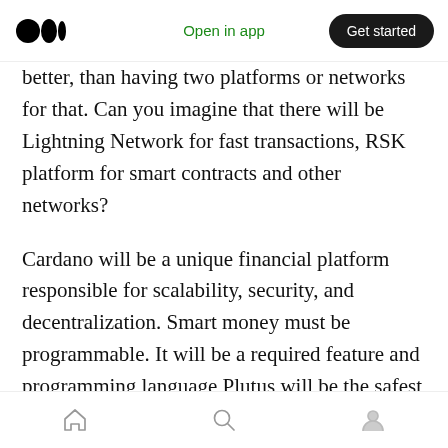Open in app | Get started
better, than having two platforms or networks for that. Can you imagine that there will be Lightning Network for fast transactions, RSK platform for smart contracts and other networks?
Cardano will be a unique financial platform responsible for scalability, security, and decentralization. Smart money must be programmable. It will be a required feature and programming language Plutus will be the safest tool to build smart contracts. Cardano’s future is bright.
Home | Search | Profile